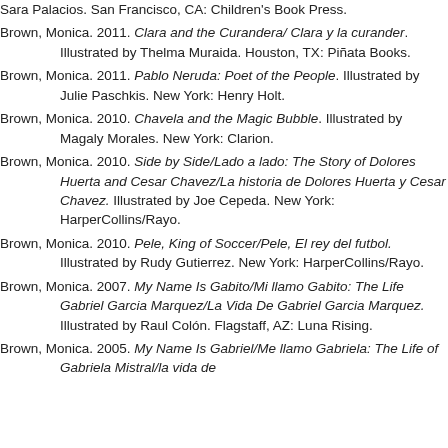Sara Palacios. San Francisco, CA: Children's Book Press.
Brown, Monica. 2011. Clara and the Curandera/ Clara y la curander. Illustrated by Thelma Muraida. Houston, TX: Piñata Books.
Brown, Monica. 2011. Pablo Neruda: Poet of the People. Illustrated by Julie Paschkis. New York: Henry Holt.
Brown, Monica. 2010. Chavela and the Magic Bubble. Illustrated by Magaly Morales. New York: Clarion.
Brown, Monica. 2010. Side by Side/Lado a lado: The Story of Dolores Huerta and Cesar Chavez/La historia de Dolores Huerta y Cesar Chavez. Illustrated by Joe Cepeda. New York: HarperCollins/Rayo.
Brown, Monica. 2010. Pele, King of Soccer/Pele, El rey del futbol. Illustrated by Rudy Gutierrez. New York: HarperCollins/Rayo.
Brown, Monica. 2007. My Name Is Gabito/Mi llamo Gabito: The Life Gabriel Garcia Marquez/La Vida De Gabriel Garcia Marquez. Illustrated by Raul Colón. Flagstaff, AZ: Luna Rising.
Brown, Monica. 2005. My Name Is Gabriel/Me llamo Gabriela: The Life of Gabriela Mistral/la vida de